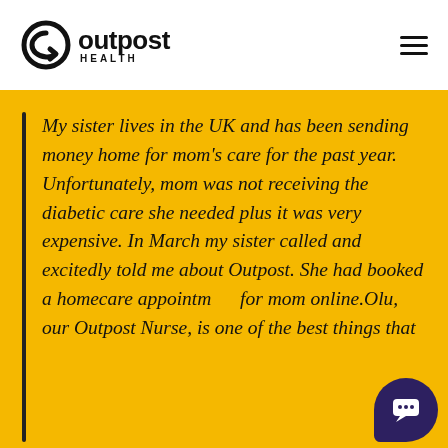[Figure (logo): Outpost Health logo with circular arrow icon and text 'outpost HEALTH']
My sister lives in the UK and has been sending money home for mom's care for the past year. Unfortunately, mom was not receiving the diabetic care she needed plus it was very expensive. In March my sister called and excitedly told me about Outpost. She had booked a homecare appointment for mom online.Olu, our Outpost Nurse, is one of the best things that